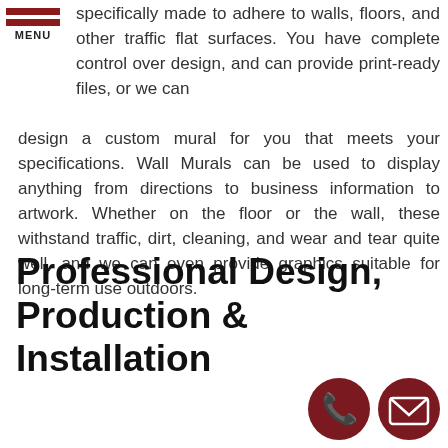MENU
specifically made to adhere to walls, floors, and other traffic flat surfaces. You have complete control over design, and can provide print-ready files, or we can design a custom mural for you that meets your specifications. Wall Murals can be used to display anything from directions to business information to artwork. Whether on the floor or the wall, these withstand traffic, dirt, cleaning, and wear and tear quite well, and we can even provide graphics suitable for long-term use outdoors.
Professional Design, Production & Installation
[Figure (illustration): Phone icon in dark red circle button]